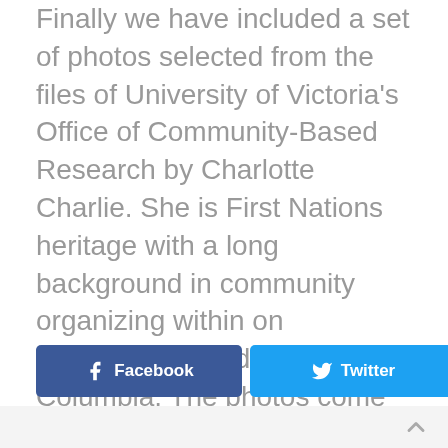Finally we have included a set of photos selected from the files of University of Victoria's Office of Community-Based Research by Charlotte Charlie. She is First Nations heritage with a long background in community organizing within on Vancouver Island and British Columbia. The photos come from various community university research partnerships linked to work at the University of Victoria.
[Figure (infographic): Social media share buttons: Facebook (dark blue), Twitter (light blue), Google+ (red), LinkedIn (blue)]
Back to top arrow